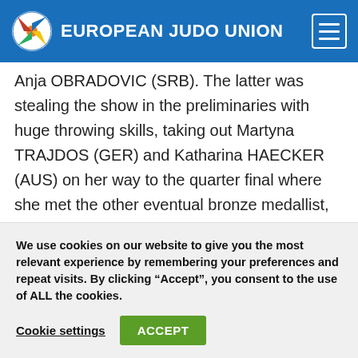EUROPEAN JUDO UNION
Anja OBRADOVIC (SRB). The latter was stealing the show in the preliminaries with huge throwing skills, taking out Martyna TRAJDOS (GER) and Katharina HAECKER (AUS) on her way to the quarter final where she met the other eventual bronze medallist, Vermeer. The Dutch had a strong performance, winning her quarter final and losing out only to Agbegnenou in the
We use cookies on our website to give you the most relevant experience by remembering your preferences and repeat visits. By clicking “Accept”, you consent to the use of ALL the cookies.